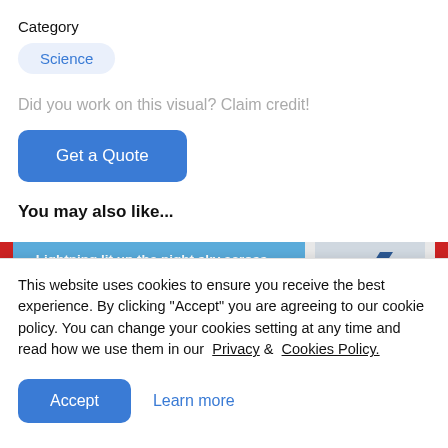Category
Science
Did you work on this visual? Claim credit!
Get a Quote
You may also like...
[Figure (screenshot): Article thumbnail showing blue banner with white bold text: 'Lightning lit up the night sky across large parts of Britain in a weather phenomenon dubbed the "mother of all...' with a lightning bolt graphic on the right side and red stripes on edges.]
This website uses cookies to ensure you receive the best experience. By clicking "Accept" you are agreeing to our cookie policy. You can change your cookies setting at any time and read how we use them in our Privacy & Cookies Policy.
Accept
Learn more